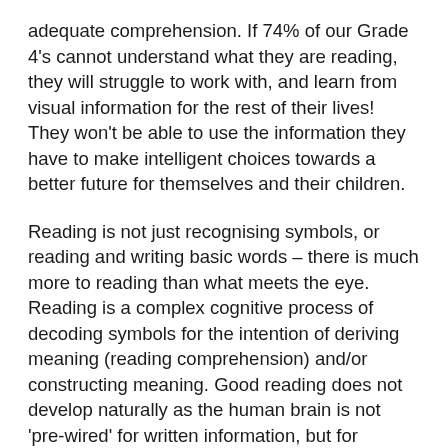adequate comprehension. If 74% of our Grade 4's cannot understand what they are reading, they will struggle to work with, and learn from visual information for the rest of their lives! They won't be able to use the information they have to make intelligent choices towards a better future for themselves and their children.
Reading is not just recognising symbols, or reading and writing basic words – there is much more to reading than what meets the eye. Reading is a complex cognitive process of decoding symbols for the intention of deriving meaning (reading comprehension) and/or constructing meaning. Good reading does not develop naturally as the human brain is not 'pre-wired' for written information, but for spoken. This is one of the reasons that humans have, for generations, transferred knowledge through singing and story-telling. With the advent of written language, we've developed different strategies of training the brain to read with understanding. This has arguably been one of the most significant challenges facing